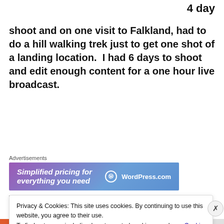4 day
shoot and on one visit to Falkland, had to do a hill walking trek just to get one shot of a landing location.  I had 6 days to shoot and edit enough content for a one hour live broadcast.
[Figure (other): WordPress.com advertisement banner: 'Simplified pricing for everything you need']
The show ended up being one hour and thirty eight minutes in duration.  There were many 'raconteurs' as
Privacy & Cookies: This site uses cookies. By continuing to use this website, you agree to their use.
To find out more, including how to control cookies, see here: Cookie Policy
Close and accept